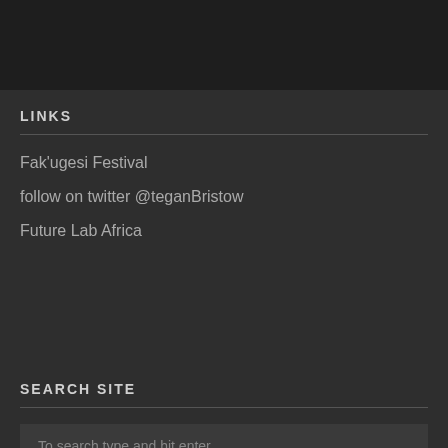LINKS
Fak'ugesi Festival
follow on twitter @teganBristow
Future Lab Africa
SEARCH SITE
To search type and hit enter...